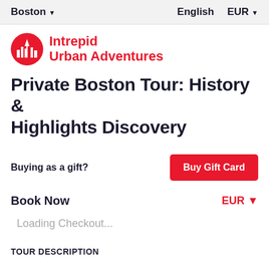Boston ▾   English   EUR ▾
[Figure (logo): Intrepid Urban Adventures logo — red circular icon with stylized city skyline silhouette and white arrow, next to red bold text 'Intrepid Urban Adventures']
Private Boston Tour: History & Highlights Discovery
Buying as a gift?
Buy Gift Card
Book Now
EUR ▾
Loading Checkout...
TOUR DESCRIPTION